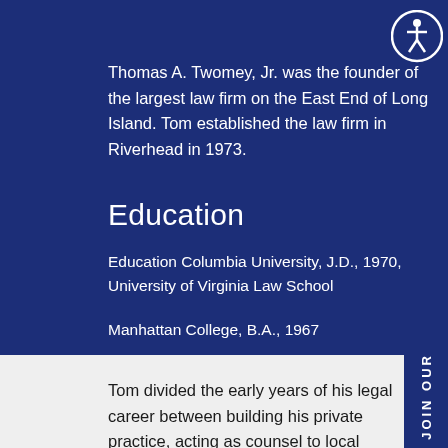Thomas A. Twomey, Jr. was the founder of the largest law firm on the East End of Long Island. Tom established the law firm in Riverhead in 1973.
Education
Education Columbia University, J.D., 1970, University of Virginia Law School
Manhattan College, B.A., 1967
Tom divided the early years of his legal career between building his private practice, acting as counsel to local municipal boards, and...